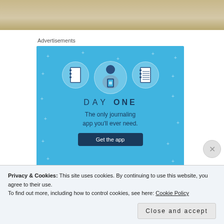[Figure (photo): Top portion of a food/object photo, cropped at top of page, sandy/beige background]
Advertisements
[Figure (illustration): Day One journaling app advertisement. Blue background with star decorations. Three circular icons at top showing a blank notebook, a person using a phone, and a lined notebook. Text reads: DAY ONE - The only journaling app you'll ever need. Button: Get the app.]
Privacy & Cookies: This site uses cookies. By continuing to use this website, you agree to their use.
To find out more, including how to control cookies, see here: Cookie Policy
Close and accept